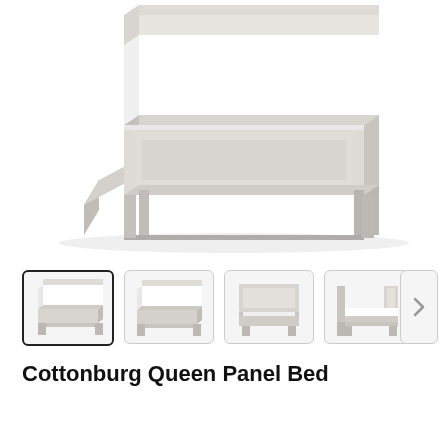[Figure (photo): Large product photo of a gray queen panel bed with white mattress, viewed from a slight angle showing headboard and footboard. Wood frame in light gray/taupe finish.]
[Figure (photo): Thumbnail 1 (active/selected): front-angle view of gray queen panel bed]
[Figure (photo): Thumbnail 2: slightly different angle of gray queen panel bed]
[Figure (photo): Thumbnail 3: front view of gray panel bed headboard]
[Figure (photo): Thumbnail 4: side view of gray panel bed]
Cottonburg Queen Panel Bed